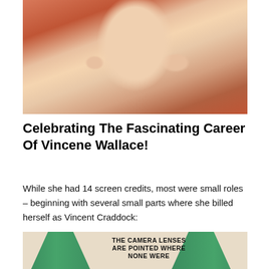[Figure (photo): Close-up photo of a blonde woman lying on a red surface, resting her chin on her hand, looking at the camera.]
Celebrating The Fascinating Career Of Vincene Wallace!
While she had 14 screen credits, most were small roles – beginning with several small parts where she billed herself as Vincent Craddock:
[Figure (photo): Movie poster or promotional image showing green-tinted silhouettes of women with arms outstretched, with bold text reading 'THE CAMERA LENSES ARE POINTED WHERE NONE WERE']